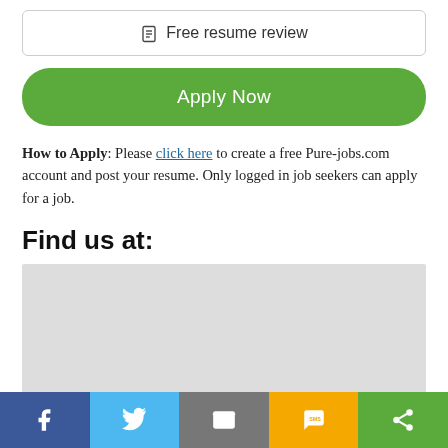📄 Free resume review
Apply Now
How to Apply: Please click here to create a free Pure-jobs.com account and post your resume. Only logged in job seekers can apply for a job.
Find us at:
[Figure (map): Gray placeholder map area]
Social share bar: Facebook, Twitter, Email, SMS, Share